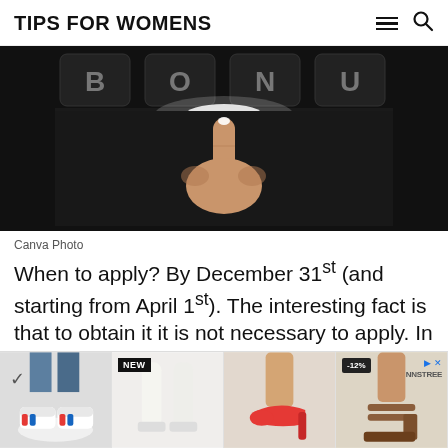TIPS FOR WOMENS
[Figure (photo): A hand with index finger pointing upward at glowing buttons on a dark panel, with light emanating from the touch point]
Canva Photo
When to apply? By December 31st (and starting from April 1st). The interesting fact is that to obtain it it is not necessary to apply. In fact, it is
...(Regulatory Authority for Energy...
[Figure (photo): Advertisement banner showing four images of women's footwear: red and blue sneakers, white knee-high boots labeled NEW, red high heels, and brown block-heel sandals labeled -12%. NNSTREE brand shown on right.]